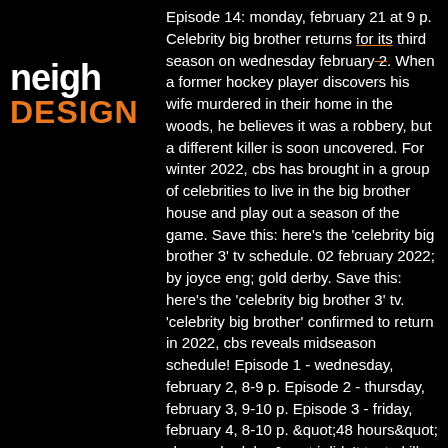[Figure (logo): Partial logo showing 'neigh' in white bold text and 'DESIGN' in orange bold text on black background]
Episode 14: monday, february 21 at 9 p. Celebrity big brother returns for its third season on wednesday february 2. When a former hockey player discovers his wife murdered in their home in the woods, he believes it was a robbery, but a different killer is soon uncovered. For winter 2022, cbs has brought in a group of celebrities to live in the big brother house and play out a season of the game. Save this: here's the 'celebrity big brother 3' tv schedule. 02 february 2022; by joyce eng; gold derby. Save this: here's the 'celebrity big brother 3' tv. 'celebrity big brother' confirmed to return in 2022, cbs reveals midseason schedule! Episode 1 - wednesday, february 2, 8-9 p. Episode 2 - thursday, february 3, 9-10 p. Episode 3 - friday, february 4, 8-10 p. &quot;48 hours&quot; show schedule. &quot;i didn't try to kill my brother&quot;: years later, girl adopted from russia speaks. "good sam"